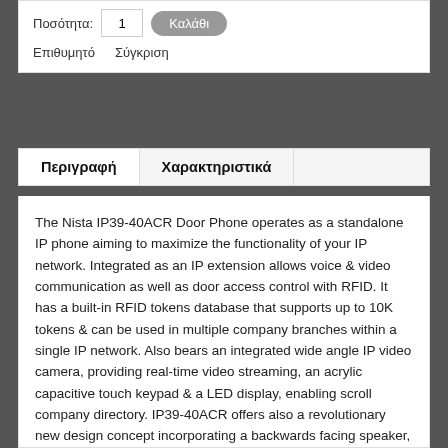Ποσότητα: 1  Καλάθι
Επιθυμητό   Σύγκριση
Περιγραφή   Χαρακτηριστικά
The Nista IP39-40ACR Door Phone operates as a standalone IP phone aiming to maximize the functionality of your IP network. Integrated as an IP extension allows voice & video communication as well as door access control with RFID. It has a built-in RFID tokens database that supports up to 10K tokens & can be used in multiple company branches within a single IP network. Also bears an integrated wide angle IP video camera, providing real-time video streaming, an acrylic capacitive touch keypad & a LED display, enabling scroll company directory. IP39-40ACR offers also a revolutionary new design concept incorporating a backwards facing speaker, suited & protected at the back of the unit where the sound is ported through sound vents on the sides.This allows the front panel to be speaker-free with no moving parts. Comes with a front panel of fine satin aluminum profile finish & a very robust, vadal-proof